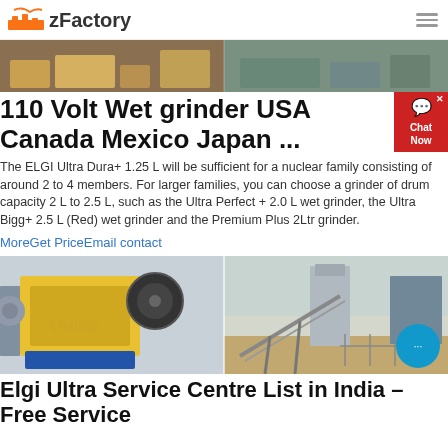zFactory
[Figure (photo): Industrial mining/quarry machinery and equipment, banner image at top]
110 Volt Wet grinder USA Canada Mexico Japan ...
The ELGI Ultra Dura+ 1.25 L will be sufficient for a nuclear family consisting of around 2 to 4 members. For larger families, you can choose a grinder of drum capacity 2 L to 2.5 L, such as the Ultra Perfect + 2.0 L wet grinder, the Ultra Bigg+ 2.5 L (Red) wet grinder and the Premium Plus 2Ltr grinder.
MoreGet PriceEmail contact
[Figure (photo): Yellow jaw crusher machine on blue base (left) and outdoor conveyor belt/silo installation (right)]
Elgi Ultra Service Centre List in India – Free Service